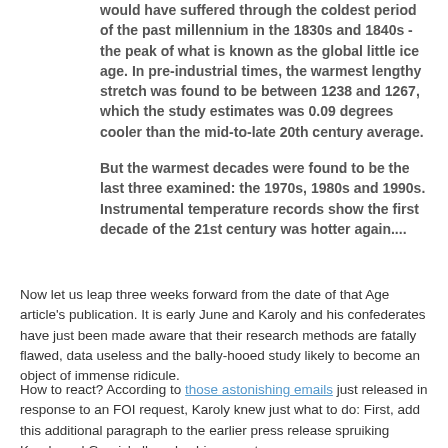would have suffered through the coldest period of the past millennium in the 1830s and 1840s - the peak of what is known as the global little ice age. In pre-industrial times, the warmest lengthy stretch was found to be between 1238 and 1267, which the study estimates was 0.09 degrees cooler than the mid-to-late 20th century average.
But the warmest decades were found to be the last three examined: the 1970s, 1980s and 1990s. Instrumental temperature records show the first decade of the 21st century was hotter again....
Now let us leap three weeks forward from the date of that Age article's publication. It is early June and Karoly and his confederates have just been made aware that their research methods are fatally flawed, data useless and the bally-hooed study likely to become an object of immense ridicule.
How to react? According to those astonishing emails just released in response to an FOI request, Karoly knew just what to do: First, add this additional paragraph to the earlier press release spruiking Karoly and Gergis' alleged achievement.